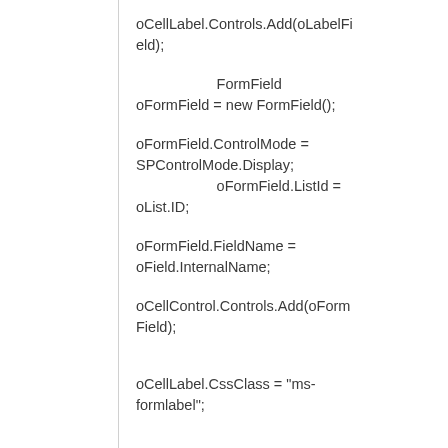oCellLabel.Controls.Add(oLabelField);
FormField
oFormField = new FormField();
oFormField.ControlMode = SPControlMode.Display;
                    oFormField.ListId = oList.ID;
oFormField.FieldName = oField.InternalName;
oCellControl.Controls.Add(oFormField);
oCellLabel.CssClass = "ms-formlabel";